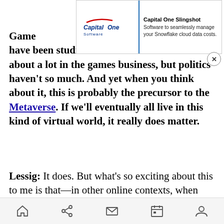[Figure (other): Capital One Software advertisement banner with logo on left and text 'Capital One Slingshot - Software to seamlessly manage your Snowflake cloud data costs.' on right, with a close (X) button]
Game economics have been studied and theorized and talked about a lot in the games business, but politics haven't so much. And yet when you think about it, this is probably the precursor to the Metaverse. If we'll eventually all live in this kind of virtual world, it really does matter.
Lessig: It does. But what's so exciting about this to me is that—in other online contexts, when governance questions come up, the infrastructure or the context in which those questions can be answered is really underdeveloped. Nobody thinks about that up front. You can have a conflict over changes in pricing or whether things can be traded
Home | Share | Mail | Calendar | Profile